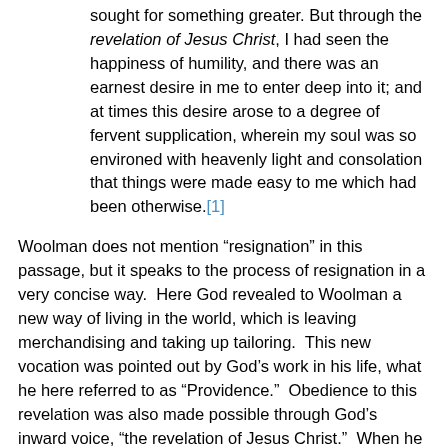sought for something greater. But through the revelation of Jesus Christ, I had seen the happiness of humility, and there was an earnest desire in me to enter deep into it; and at times this desire arose to a degree of fervent supplication, wherein my soul was so environed with heavenly light and consolation that things were made easy to me which had been otherwise.[1]
Woolman does not mention “resignation” in this passage, but it speaks to the process of resignation in a very concise way.  Here God revealed to Woolman a new way of living in the world, which is leaving merchandising and taking up tailoring.  This new vocation was pointed out by God’s work in his life, what he here referred to as “Providence.”  Obedience to this revelation was also made possible through God’s inward voice, “the revelation of Jesus Christ.”  When he entered into God’s revelation, he was then able to see the world and his role in it in a